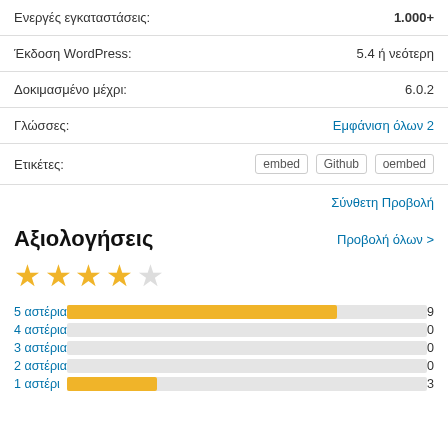| Ενεργές εγκαταστάσεις: | 1.000+ |
| Έκδοση WordPress: | 5.4 ή νεότερη |
| Δοκιμασμένο μέχρι: | 6.0.2 |
| Γλώσσες: | Εμφάνιση όλων 2 |
| Ετικέτες: | embed  Github  oembed |
Σύνθετη Προβολή
Αξιολογήσεις
Προβολή όλων >
[Figure (other): 4 out of 5 stars rating]
[Figure (bar-chart): Ratings distribution]